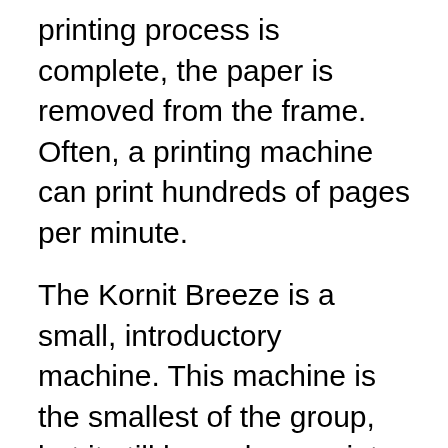printing process is complete, the paper is removed from the frame. Often, a printing machine can print hundreds of pages per minute.
The Kornit Breeze is a small, introductory machine. This machine is the smallest of the group, but it still has a large print area of 4′ x 5′. This machine has a sleek, modern look and an integrated pre-treatment system. The Kornit Breeze also includes a gas dryer to help cure the ink. The Breeze is the perfect choice for small businesses that want to print their own products.